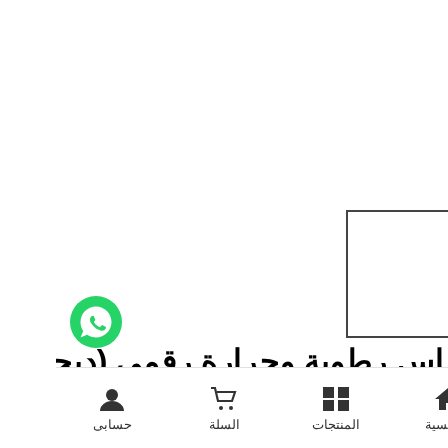[Figure (photo): Small product thumbnail box with a tiny teal/cyan upward-pointing triangle mark inside, bordered by a square outline]
[Figure (logo): WhatsApp green circle logo with phone handset icon]
حساس رطوبة وحرارة رقمي (ديجتال)
الرئيسية | المنتجات | السلة | حسابى